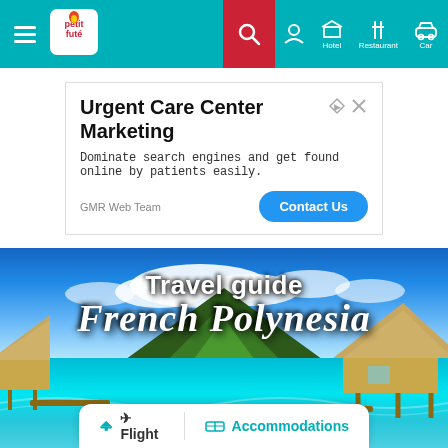Petit Futé — Hotel Restaurant Car
[Figure (screenshot): Urgent Care Center Marketing advertisement banner with Contact Us button]
[Figure (photo): Travel guide French Polynesia hero image showing overwater bungalows, turquoise lagoon, and tropical mountain, with Flight and Accommodations navigation bar at bottom]